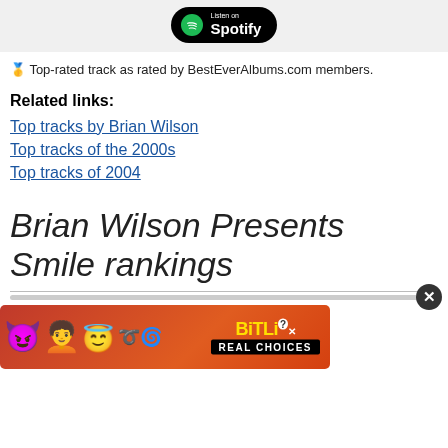[Figure (logo): Listen on Spotify button on grey background]
🥇 Top-rated track as rated by BestEverAlbums.com members.
Related links:
Top tracks by Brian Wilson
Top tracks of the 2000s
Top tracks of 2004
Brian Wilson Presents Smile rankings
[Figure (illustration): BitLife advertisement banner with emoji characters on red/orange background with REAL CHOICES text]